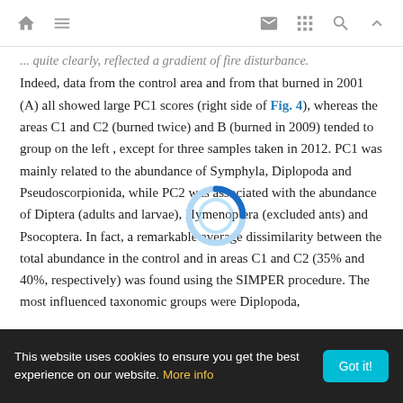[navigation bar with home, menu, mail, grid, search, up icons]
... quite clearly, reflected a gradient of fire disturbance. Indeed, data from the control area and from that burned in 2001 (A) all showed large PC1 scores (right side of Fig. 4), whereas the areas C1 and C2 (burned twice) and B (burned in 2009) tended to group on the left , except for three samples taken in 2012. PC1 was mainly related to the abundance of Symphyla, Diplopoda and Pseudoscorpionida, while PC2 was associated with the abundance of Diptera (adults and larvae), Hymenoptera (excluded ants) and Psocoptera. In fact, a remarkable average dissimilarity between the total abundance in the control and in areas C1 and C2 (35% and 40%, respectively) was found using the SIMPER procedure. The most influenced taxonomic groups were Diplopoda,
This website uses cookies to ensure you get the best experience on our website. More info